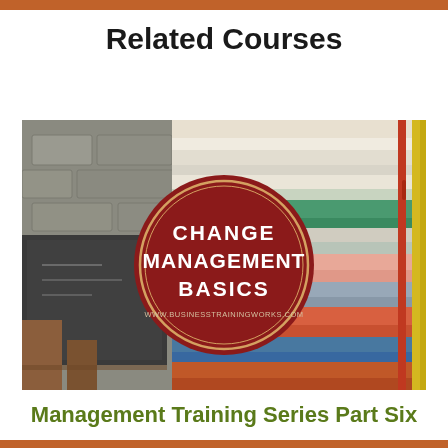Related Courses
[Figure (illustration): Photo of stacked colorful folded fabrics/textiles on the right side, a wooden chair and chalkboard on the left, with a large dark red circular badge overlaid in the center reading 'CHANGE MANAGEMENT BASICS' and 'WWW.BUSINESSTRAININGWORKS.COM' beneath it.]
Management Training Series Part Six